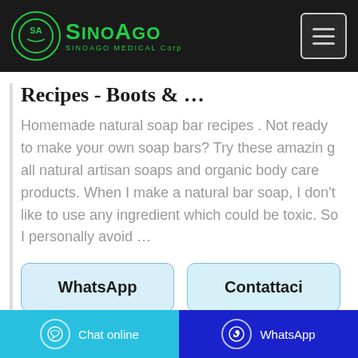SinoAgo Medical Corp
Recipes - Boots & …
Homemade natural soap bar recipes . Not ready to make your own soap bars? Try these amazin g all natural artisan soaps and organic body care products. When I make a natural bar soap, I don't like to use any ingredient which could be toxic. So I personally avoid …
WhatsApp | Contattaci
Chat online | WhatsApp